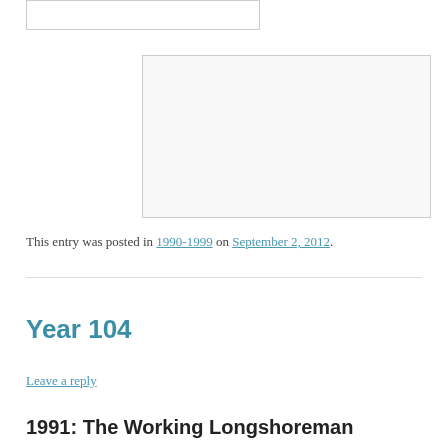[Figure (other): Empty white box with gray border at top left]
[Figure (other): Empty white/light gray box with gray border, representing an image placeholder]
This entry was posted in 1990-1999 on September 2, 2012.
Year 104
Leave a reply
1991: The Working Longshoreman